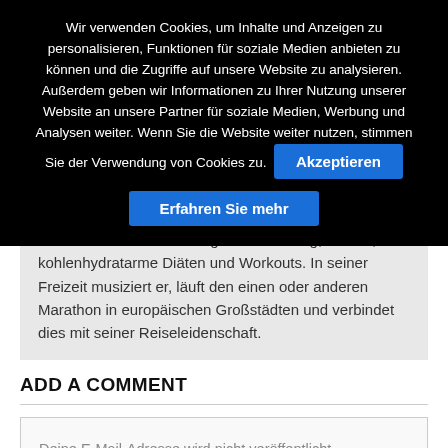Wir verwenden Cookies, um Inhalte und Anzeigen zu personalisieren, Funktionen für soziale Medien anbieten zu können und die Zugriffe auf unsere Website zu analysieren. Außerdem geben wir Informationen zu Ihrer Nutzung unserer Website an unsere Partner für soziale Medien, Werbung und Analysen weiter. Wenn Sie die Website weiter nutzen, stimmen Sie der Verwendung von Cookies zu.
Akzeptieren
Erfahren Sie mehr
sich auf Themen wie Ketogene Ernährung, Fasten, kohlenhydratarme Diäten und Workouts. In seiner Freizeit musiziert er, läuft den einen oder anderen Marathon in europäischen Großstädten und verbindet dies mit seiner Reiseleidenschaft.
ADD A COMMENT
Deine E-Mail-Adresse wird nicht veröffentlicht. Erforderliche Felder sind mit * markiert.